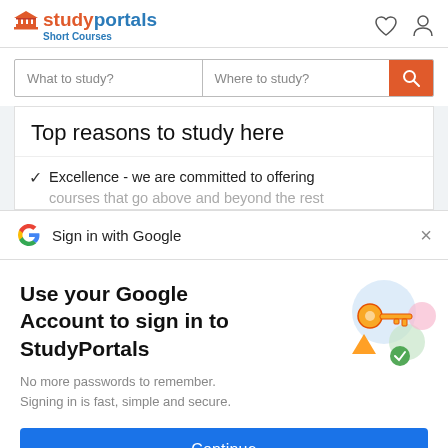studyportals Short Courses
What to study? | Where to study?
Top reasons to study here
Excellence - we are committed to offering courses that go above and beyond the rest
Sign in with Google
Use your Google Account to sign in to StudyPortals
No more passwords to remember. Signing in is fast, simple and secure.
Continue